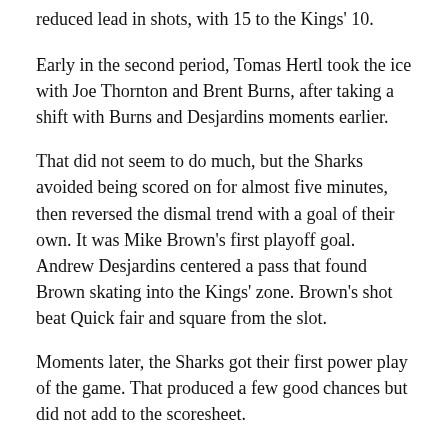reduced lead in shots, with 15 to the Kings' 10.
Early in the second period, Tomas Hertl took the ice with Joe Thornton and Brent Burns, after taking a shift with Burns and Desjardins moments earlier.
That did not seem to do much, but the Sharks avoided being scored on for almost five minutes, then reversed the dismal trend with a goal of their own. It was Mike Brown's first playoff goal. Andrew Desjardins centered a pass that found Brown skating into the Kings' zone. Brown's shot beat Quick fair and square from the slot.
Moments later, the Sharks got their first power play of the game. That produced a few good chances but did not add to the scoresheet.
It was near the half-way mark of the game when Raffi Torres